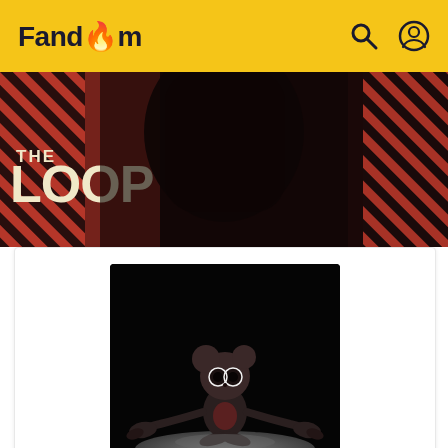Fandom
[Figure (screenshot): The Loop banner — dark atmospheric banner with diagonal red and black stripes on both sides, large text 'THE LOOP' on the left in white and yellow, and a dark cloaked figure in the center background]
[Figure (photo): 3D rendered dark mouse suit character — small animatronic-looking creature with big empty eyes, round ears, and stumpy limbs, sitting on a grey surface against a black background]
CHARACTER INFORMATION
| Field | Value |
| --- | --- |
| SPECIES | Mouse Suit |